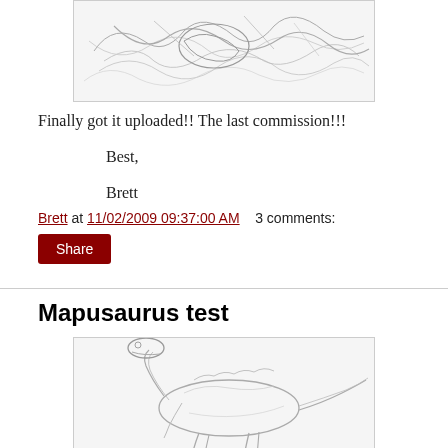[Figure (illustration): Pencil sketch illustration of dinosaurs or creatures in a detailed line drawing style]
Finally got it uploaded!! The last commission!!!

Best,

Brett
Brett at 11/02/2009 09:37:00 AM   3 comments:
Share
Mapusaurus test
[Figure (illustration): Pencil sketch of a Mapusaurus dinosaur in side view, detailed line drawing]